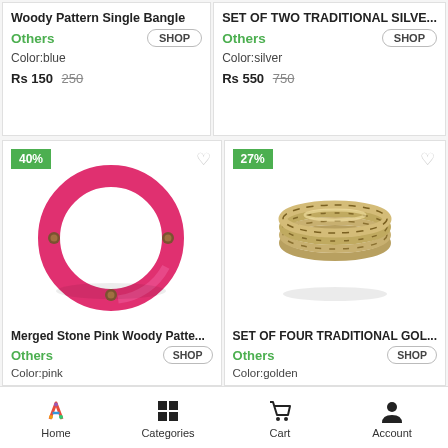Woody Pattern Single Bangle
Others | SHOP
Color:blue
Rs 150  250
SET OF TWO TRADITIONAL SILVE...
Others | SHOP
Color:silver
Rs 550  750
[Figure (photo): Pink magenta wooden bangle with metal studs, 40% discount badge]
[Figure (photo): Set of four golden/antique traditional bangles, 27% discount badge]
Merged Stone Pink Woody Patte...
Others | SHOP
Color:pink
SET OF FOUR TRADITIONAL GOL...
Others | SHOP
Color:golden
Home  Categories  Cart  Account